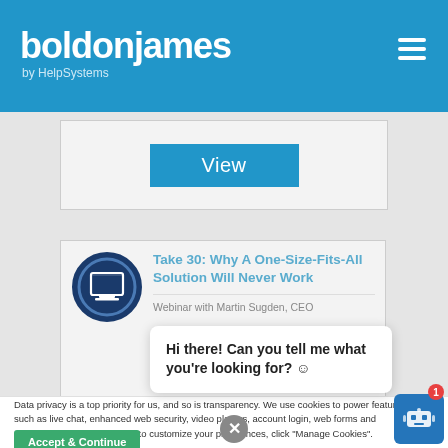boldon james by HelpSystems
[Figure (screenshot): View button card in gray section]
[Figure (screenshot): Webinar card: Take 30: Why A One-Size-Fits-All Solution Will Never Work. Webinar with Martin Sugden, CEO. Monitor icon on left.]
Data privacy is a top priority for us, and so is transparency. We use cookies to power features such as live chat, enhanced web security, video players, account login, web forms and analytics. For more details or to customize your preferences, click "Manage Cookies".
Hi there! Can you tell me what you're looking for? ☺
Accept & Continue